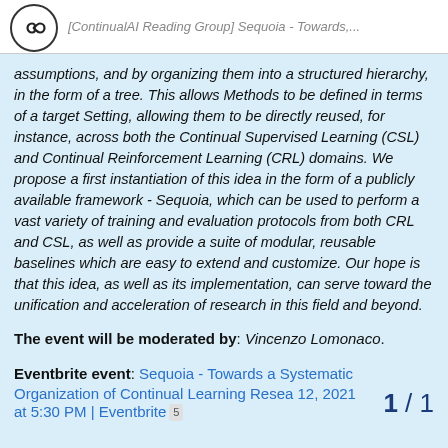[ContinualAI Reading Group] Sequoia - Towards...
assumptions, and by organizing them into a structured hierarchy, in the form of a tree. This allows Methods to be defined in terms of a target Setting, allowing them to be directly reused, for instance, across both the Continual Supervised Learning (CSL) and Continual Reinforcement Learning (CRL) domains. We propose a first instantiation of this idea in the form of a publicly available framework - Sequoia, which can be used to perform a vast variety of training and evaluation protocols from both CRL and CSL, as well as provide a suite of modular, reusable baselines which are easy to extend and customize. Our hope is that this idea, as well as its implementation, can serve toward the unification and acceleration of research in this field and beyond.
The event will be moderated by: Vincenzo Lomonaco.
Eventbrite event: Sequoia - Towards a Systematic Organization of Continual Learning Resea 12, 2021 at 5:30 PM | Eventbrite 5
1 / 1